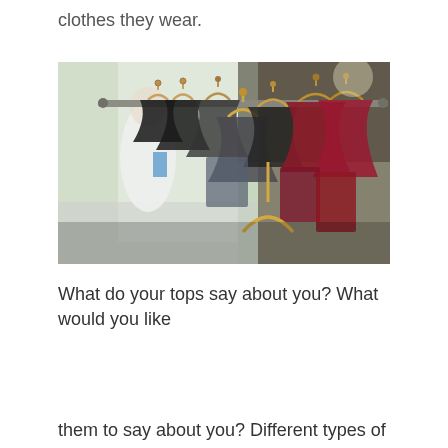clothes they wear.
[Figure (photo): A clothing rack with multiple wooden hangers holding various garments including dark jackets and red/burgundy tops, photographed from a low angle with a blurred outdoor market background.]
What do your tops say about you? What would you like